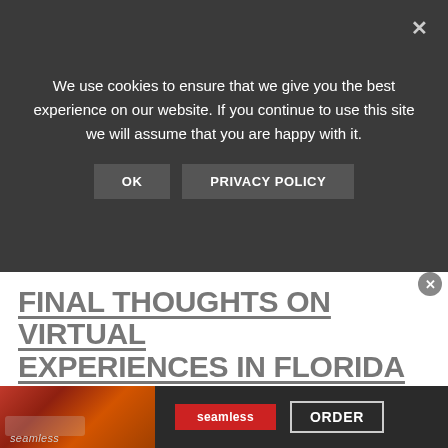We use cookies to ensure that we give you the best experience on our website. If you continue to use this site we will assume that you are happy with it.
OK   PRIVACY POLICY
FINAL THOUGHTS ON VIRTUAL EXPERIENCES IN FLORIDA
We love that there are so many virtual experiences in Florida! Even if you’re stuck at home and can’t travel, you can still explore and experience so many places and have fun! There are things you can do by yourself or with your
[Figure (screenshot): Seamless food delivery advertisement banner at the bottom showing food images, Seamless logo, and ORDER button]